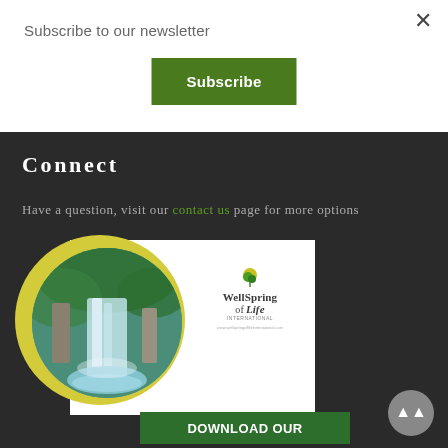Subscribe to our newsletter
Subscribe
Connect
Have a question, visit our contact us page for more options
[Figure (illustration): WellSpring of Life International brochure cover featuring a circular waterfall nature photo on a yellow background and the WellSpring of Life International logo on a white card. Below is a green 'DOWNLOAD OUR' banner.]
DOWNLOAD OUR